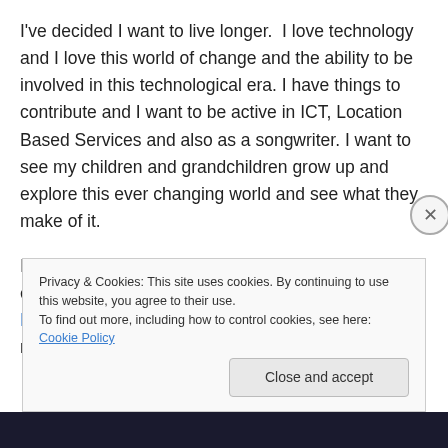I've decided I want to live longer.  I love technology and I love this world of change and the ability to be involved in this technological era. I have things to contribute and I want to be active in ICT, Location Based Services and also as a songwriter. I want to see my children and grandchildren grow up and explore this ever changing world and see what they make of it.
I'm going to have to work longer, that was always expected, but then providing my Maslow and Herzberg needs are met, I enjoy working. I enjoy making a
Privacy & Cookies: This site uses cookies. By continuing to use this website, you agree to their use.
To find out more, including how to control cookies, see here: Cookie Policy
Close and accept